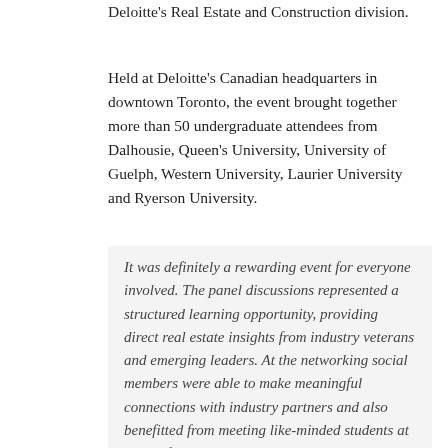Deloitte's Real Estate and Construction division.
Held at Deloitte's Canadian headquarters in downtown Toronto, the event brought together more than 50 undergraduate attendees from Dalhousie, Queen's University, University of Guelph, Western University, Laurier University and Ryerson University.
It was definitely a rewarding event for everyone involved. The panel discussions represented a structured learning opportunity, providing direct real estate insights from industry veterans and emerging leaders. At the networking social members were able to make meaningful connections with industry partners and also benefitted from meeting like-minded students at some of Canada's top universities.
Patrick Sadler Commerce Student, DREA President
Since then, DREA members were sponsored by CBRE Atlantic to attend their market outlook breakfast on Nov. 16 in Halifax.